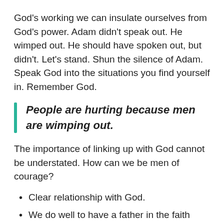God's working we can insulate ourselves from God's power. Adam didn't speak out. He wimped out. He should have spoken out, but didn't. Let's stand. Shun the silence of Adam. Speak God into the situations you find yourself in. Remember God.
People are hurting because men are wimping out.
The importance of linking up with God cannot be understated. How can we be men of courage?
Clear relationship with God.
We do well to have a father in the faith whom we can follow.
We need a brother whom we can share deeply with.